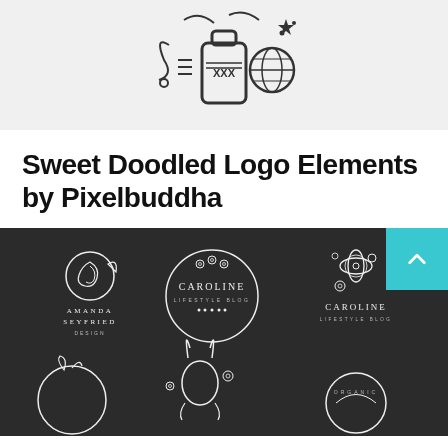[Figure (illustration): Line art doodle illustration on light gray background showing a bottle labeled XXX with decorative elements around it including a globe, swirls, and other doodle icons]
Sweet Doodled Logo Elements by Pixelbuddha
[Figure (illustration): Dark chalkboard-style background with white line art logo designs. Top row shows three logos: 'Amanda Seyfried Design' with rose illustration, 'Caroline Lifestyle Blog' in a circle with floral elements, and 'Caroline Lifestyle Blog' with a flower/clover. Bottom row shows partial logos including organic circular designs and rabbit illustration. A teal/cyan scroll-to-top button with chevron up arrow is overlaid in the top right corner.]